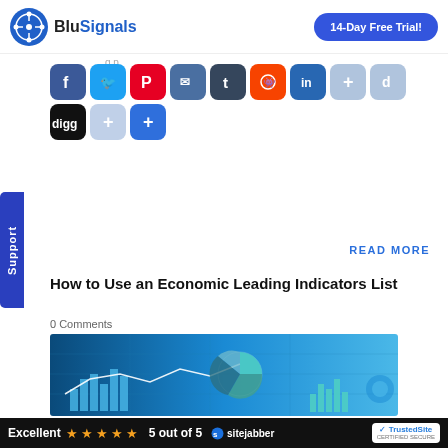[Figure (logo): BluSignals logo with circuit-board icon and site name]
[Figure (screenshot): 14-Day Free Trial button (blue rounded rectangle)]
[Figure (infographic): Social share buttons row: Facebook, Twitter, Pinterest, Email, Tumblr, Reddit, LinkedIn, Add, Digg-d, Digg, Add, Add]
[Figure (screenshot): Support vertical tab on left side]
READ MORE
How to Use an Economic Leading Indicators List
0 Comments
[Figure (photo): Financial analytics dashboard with charts and graphs on blue digital background]
Excellent  5 out of 5  sitejabber  TrustedSite CERTIFIED SECURE